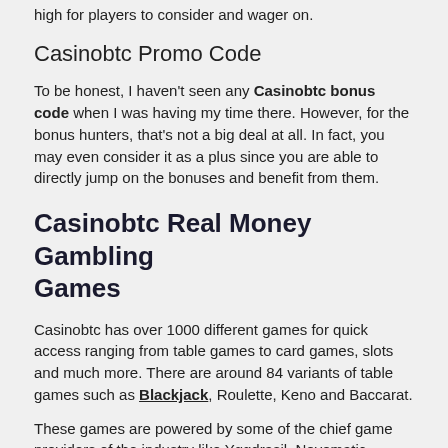high for players to consider and wager on.
Casinobtc Promo Code
To be honest, I haven't seen any Casinobtc bonus code when I was having my time there. However, for the bonus hunters, that's not a big deal at all. In fact, you may even consider it as a plus since you are able to directly jump on the bonuses and benefit from them.
Casinobtc Real Money Gambling Games
Casinobtc has over 1000 different games for quick access ranging from table games to card games, slots and much more. There are around 84 variants of table games such as Blackjack, Roulette, Keno and Baccarat.
These games are powered by some of the chief game providers of the industry like Yggdrasil, Novomatic, Merkur, NetEnt etc. In other words, there are enjoyable times waiting for you at Casinobtc.